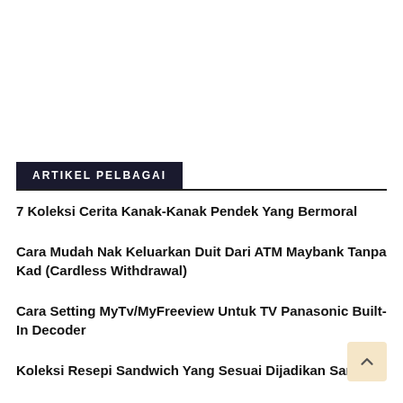ARTIKEL PELBAGAI
7 Koleksi Cerita Kanak-Kanak Pendek Yang Bermoral
Cara Mudah Nak Keluarkan Duit Dari ATM Maybank Tanpa Kad (Cardless Withdrawal)
Cara Setting MyTv/MyFreeview Untuk TV Panasonic Built-In Decoder
Koleksi Resepi Sandwich Yang Sesuai Dijadikan Sarapan